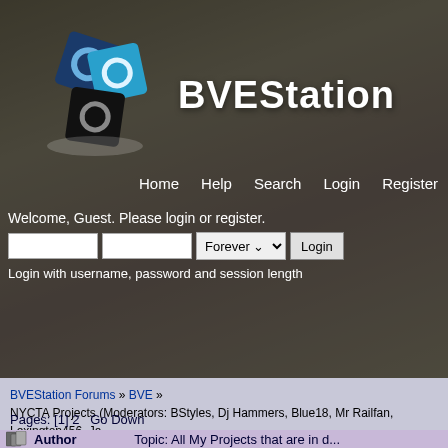[Figure (logo): BVEStation logo: three overlapping squares (dark blue, cyan, black) each with a circle cutout, arranged in a cluster]
BVEStation
Home   Help   Search   Login   Register
Welcome, Guest. Please login or register.
Login with username, password and session length
BVEStation Forums » BVE » NYCTA Projects (Moderators: BStyles, Dj Hammers, Blue18, Mr Railfan, Lexington456, Ja...
All My Projects that are in development--UPDATE
Pages: [1] 2   Go Down
Author   Topic: All My Projects that are in d...